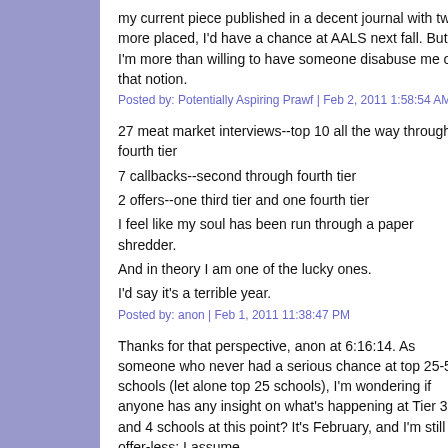my current piece published in a decent journal with two more placed, I'd have a chance at AALS next fall. But I'm more than willing to have someone disabuse me of that notion.
Posted by: Potentially Aspiring Prawf | Feb 2, 2011 1:58:54 AM
27 meat market interviews--top 10 all the way through fourth tier
7 callbacks--second through fourth tier
2 offers--one third tier and one fourth tier
I feel like my soul has been run through a paper shredder.
And in theory I am one of the lucky ones.
I'd say it's a terrible year.
Posted by: anon | Feb 1, 2011 11:38:47 PM
Thanks for that perspective, anon at 6:16:14. As someone who never had a serious chance at top 25-50 schools (let alone top 25 schools), I'm wondering if anyone has any insight on what's happening at Tier 3 and 4 schools at this point? It's February, and I'm still offer-less; I assume